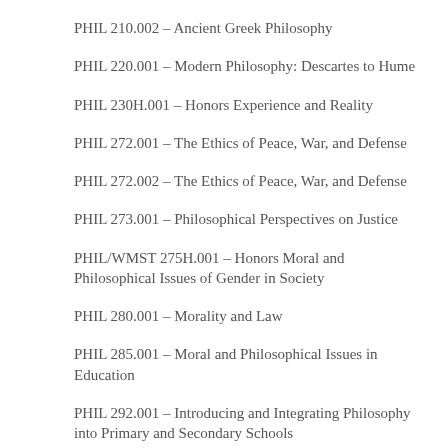PHIL 210.002 – Ancient Greek Philosophy
PHIL 220.001 – Modern Philosophy: Descartes to Hume
PHIL 230H.001 – Honors Experience and Reality
PHIL 272.001 – The Ethics of Peace, War, and Defense
PHIL 272.002 – The Ethics of Peace, War, and Defense
PHIL 273.001 – Philosophical Perspectives on Justice
PHIL/WMST 275H.001 – Honors Moral and Philosophical Issues of Gender in Society
PHIL 280.001 – Morality and Law
PHIL 285.001 – Moral and Philosophical Issues in Education
PHIL 292.001 – Introducing and Integrating Philosophy into Primary and Secondary Schools